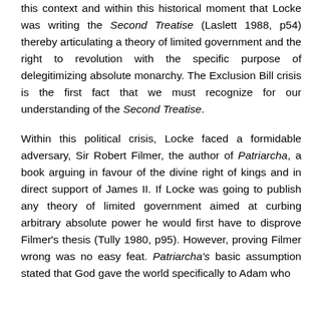this context and within this historical moment that Locke was writing the Second Treatise (Laslett 1988, p54) thereby articulating a theory of limited government and the right to revolution with the specific purpose of delegitimizing absolute monarchy. The Exclusion Bill crisis is the first fact that we must recognize for our understanding of the Second Treatise.
Within this political crisis, Locke faced a formidable adversary, Sir Robert Filmer, the author of Patriarcha, a book arguing in favour of the divine right of kings and in direct support of James II. If Locke was going to publish any theory of limited government aimed at curbing arbitrary absolute power he would first have to disprove Filmer's thesis (Tully 1980, p95). However, proving Filmer wrong was no easy feat. Patriarcha's basic assumption stated that God gave the world specifically to Adam who